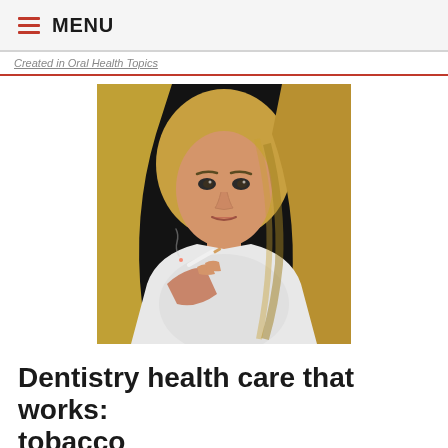MENU
Created in Oral Health Topics
[Figure (photo): A blonde woman holding a cigarette, wearing a white shirt, against a dark background]
Dentistry health care that works: tobacco